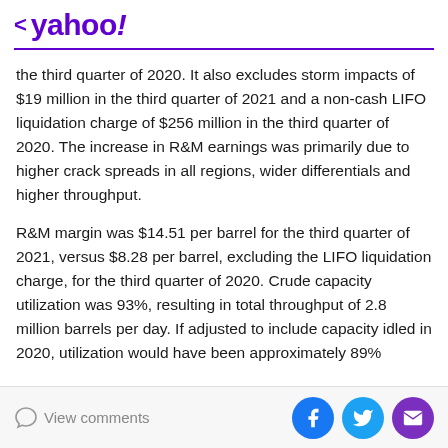< yahoo!
the third quarter of 2020. It also excludes storm impacts of $19 million in the third quarter of 2021 and a non-cash LIFO liquidation charge of $256 million in the third quarter of 2020. The increase in R&M earnings was primarily due to higher crack spreads in all regions, wider differentials and higher throughput.
R&M margin was $14.51 per barrel for the third quarter of 2021, versus $8.28 per barrel, excluding the LIFO liquidation charge, for the third quarter of 2020. Crude capacity utilization was 93%, resulting in total throughput of 2.8 million barrels per day. If adjusted to include capacity idled in 2020, utilization would have been approximately 89%
View comments